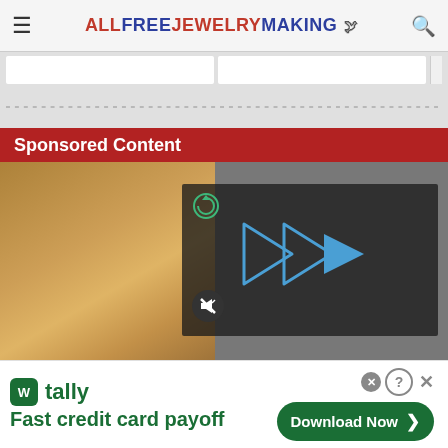ALLFREEJEWELRYMAKING
Sponsored Content
[Figure (screenshot): Video player overlay on top of a close-up image of an orange cat, with a dark semi-transparent panel showing a play button (double triangle/forward icon) and a mute button, overlaid on a room background scene.]
[Figure (screenshot): Advertisement banner for Tally app — green Tally logo icon, text 'tally' and 'Fast credit card payoff', with a green 'Download Now' button with arrow, and close/help controls.]